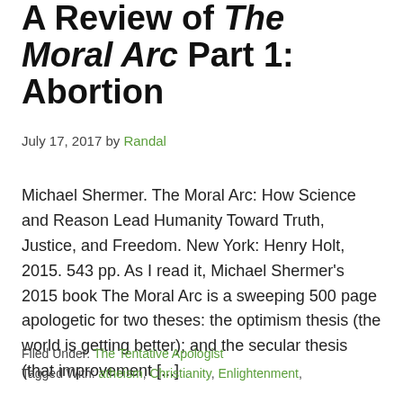A Review of The Moral Arc Part 1: Abortion
July 17, 2017 by Randal
Michael Shermer. The Moral Arc: How Science and Reason Lead Humanity Toward Truth, Justice, and Freedom. New York: Henry Holt, 2015. 543 pp. As I read it, Michael Shermer's 2015 book The Moral Arc is a sweeping 500 page apologetic for two theses: the optimism thesis (the world is getting better); and the secular thesis (that improvement [...]
Filed Under: The Tentative Apologist
Tagged With: atheism, Christianity, Enlightenment,